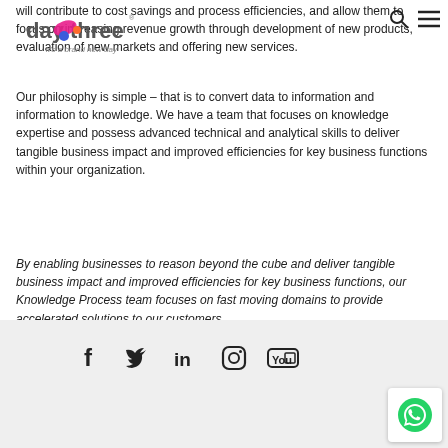[Figure (logo): DayThree logo with colourful hand/dove icon and tagline 'it's a brand new day']
[Figure (other): Search icon and hamburger menu icon in top right header]
will contribute to cost savings and process efficiencies, and allow them to focus on increasing revenue growth through development of new products, evaluation of new markets and offering new services.
Our philosophy is simple – that is to convert data to information and information to knowledge. We have a team that focuses on knowledge expertise and possess advanced technical and analytical skills to deliver tangible business impact and improved efficiencies for key business functions within your organization.
By enabling businesses to reason beyond the cube and deliver tangible business impact and improved efficiencies for key business functions, our Knowledge Process team focuses on fast moving domains to provide accelerated solutions to our customers.
[Figure (other): Social media icons row: Facebook, Twitter, LinkedIn, Instagram, YouTube]
[Figure (other): WhatsApp button icon in bottom right corner]